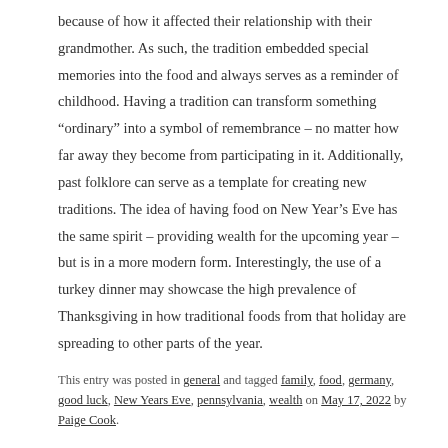because of how it affected their relationship with their grandmother. As such, the tradition embedded special memories into the food and always serves as a reminder of childhood. Having a tradition can transform something “ordinary” into a symbol of remembrance – no matter how far away they become from participating in it. Additionally, past folklore can serve as a template for creating new traditions. The idea of having food on New Year’s Eve has the same spirit – providing wealth for the upcoming year – but is in a more modern form. Interestingly, the use of a turkey dinner may showcase the high prevalence of Thanksgiving in how traditional foods from that holiday are spreading to other parts of the year.
This entry was posted in general and tagged family, food, germany, good luck, New Years Eve, pennsylvania, wealth on May 17, 2022 by Paige Cook.